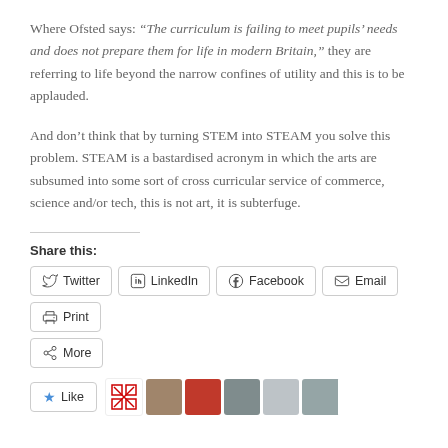Where Ofsted says: “The curriculum is failing to meet pupils’ needs and does not prepare them for life in modern Britain,” they are referring to life beyond the narrow confines of utility and this is to be applauded.
And don’t think that by turning STEM into STEAM you solve this problem. STEAM is a bastardised acronym in which the arts are subsumed into some sort of cross curricular service of commerce, science and/or tech, this is not art, it is subterfuge.
Share this: